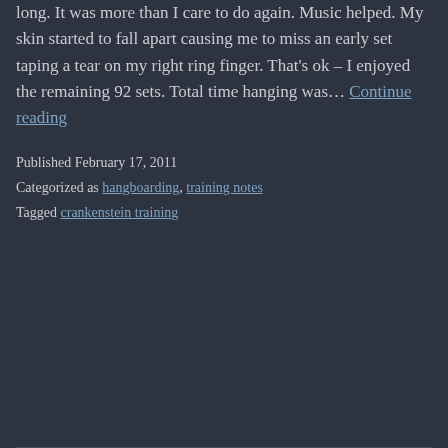long. It was more than I care to do again. Music helped. My skin started to fall apart causing me to miss an early set taping a tear on my right ring finger. That's ok – I enjoyed the remaining 92 sets. Total time hanging was… Continue reading
Published February 17, 2011
Categorized as hangboarding, training notes
Tagged crankenstein training